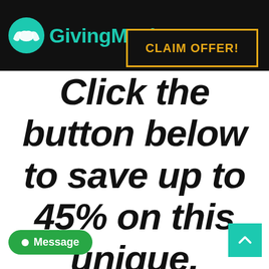[Figure (logo): GivingMasks.com logo with teal hands/mask icon on black background header bar]
[Figure (other): CLAIM OFFER! button with gold/amber border on black background]
Click the button below to save up to 45% on this unique, reusable face mask!"
[Figure (other): Green Message button at bottom left]
[Figure (other): Teal scroll-to-top button with caret at bottom right]